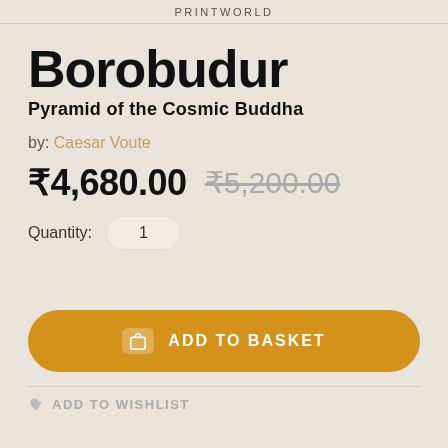PRINTWORLD
Borobudur
Pyramid of the Cosmic Buddha
by: Caesar Voute
₹4,680.00  ₹5,200.00
Quantity: 1
ADD TO BASKET
ADD TO WISHLIST